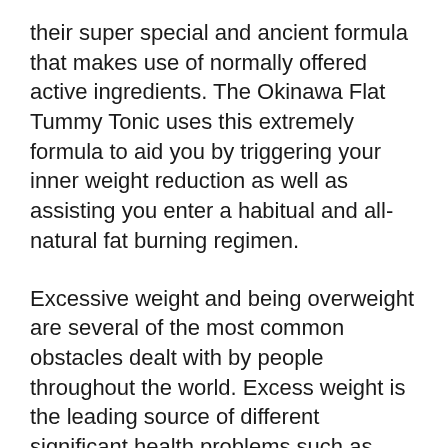their super special and ancient formula that makes use of normally offered active ingredients. The Okinawa Flat Tummy Tonic uses this extremely formula to aid you by triggering your inner weight reduction as well as assisting you enter a habitual and all-natural fat burning regimen.
Excessive weight and being overweight are several of the most common obstacles dealt with by people throughout the world. Excess weight is the leading source of different significant health problems such as heart attacks as well as cardiac arrest. Aside from this, being obese can additionally make a person feeling as well as look older than they in fact are by making them feel slow-moving, lazy, and weary. These individuals are